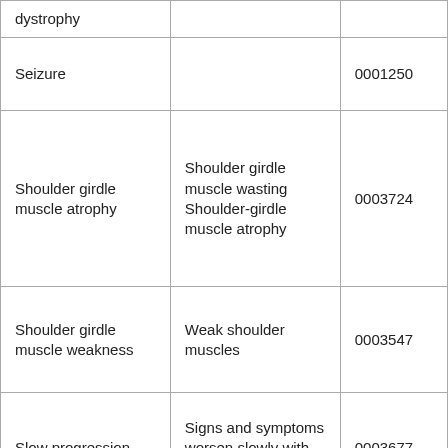| Term | Synonyms | ID |
| --- | --- | --- |
| dystrophy |  |  |
| Seizure |  | 0001250 |
| Shoulder girdle muscle atrophy | Shoulder girdle muscle wasting
Shoulder-girdle muscle atrophy | 0003724 |
| Shoulder girdle muscle weakness | Weak shoulder muscles | 0003547 |
| Slow progression | Signs and symptoms worsen slowly with time | 0003677 |